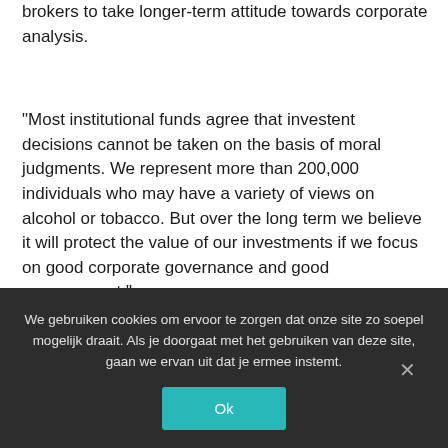brokers to take longer-term attitude towards corporate analysis.
"Most institutional funds agree that investent decisions cannot be taken on the basis of moral judgments. We represent more than 200,000 individuals who may have a variety of views on alcohol or tobacco. But over the long term we believe it will protect the value of our investments if we focus on good corporate governance and good management."
More importantly, perhaps, there are many studies showing that most analysts and investors believe there is a link between good governance and good performance – a chicken and egg situation that ends as a self-fulfilling
We gebruiken cookies om ervoor te zorgen dat onze site zo soepel mogelijk draait. Als je doorgaat met het gebruiken van deze site, gaan we ervan uit dat je ermee instemt.